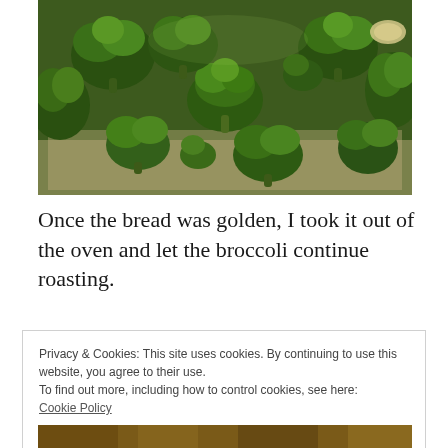[Figure (photo): Overhead photo of fresh broccoli florets spread out on parchment paper, green and dark green tones.]
Once the bread was golden, I took it out of the oven and let the broccoli continue roasting.
Privacy & Cookies: This site uses cookies. By continuing to use this website, you agree to their use.
To find out more, including how to control cookies, see here: Cookie Policy
Close and accept
[Figure (photo): Bottom sliver of a food photo, showing baked/roasted items.]